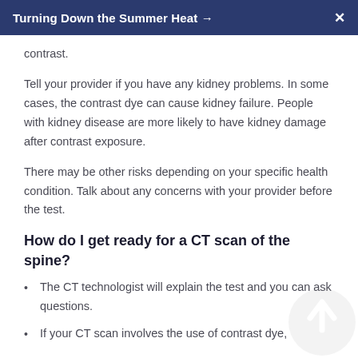Turning Down the Summer Heat →   X
contrast.
Tell your provider if you have any kidney problems. In some cases, the contrast dye can cause kidney failure. People with kidney disease are more likely to have kidney damage after contrast exposure.
There may be other risks depending on your specific health condition. Talk about any concerns with your provider before the test.
How do I get ready for a CT scan of the spine?
The CT technologist will explain the test and you can ask questions.
If your CT scan involves the use of contrast dye,